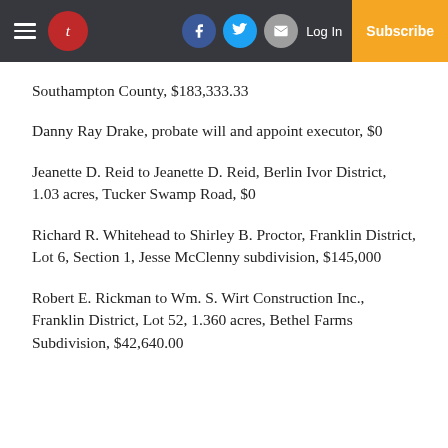Newspaper header with logo, social icons, Log In, Subscribe
Southampton County, $183,333.33
Danny Ray Drake, probate will and appoint executor, $0
Jeanette D. Reid to Jeanette D. Reid, Berlin Ivor District, 1.03 acres, Tucker Swamp Road, $0
Richard R. Whitehead to Shirley B. Proctor, Franklin District, Lot 6, Section 1, Jesse McClenny subdivision, $145,000
Robert E. Rickman to Wm. S. Wirt Construction Inc., Franklin District, Lot 52, 1.360 acres, Bethel Farms Subdivision, $42,640.00